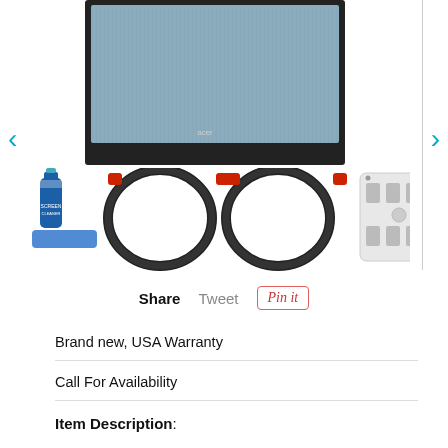[Figure (photo): Product image showing an Acer monitor with accessories: screen cleaner spray with cloth, two HDMI cables, and a wall outlet surge protector. Navigation arrows (< and >) on each side.]
Share   Tweet   Pin it
Brand new, USA Warranty
Call For Availability
Item Description: